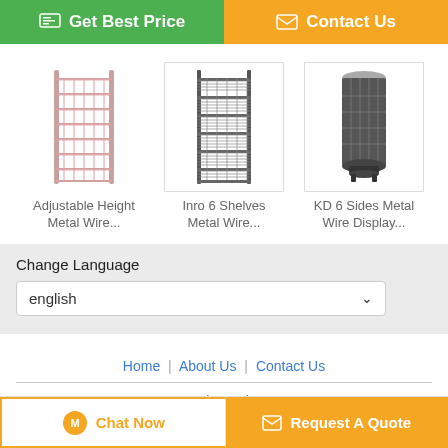[Figure (screenshot): Get Best Price button (green) and Contact Us button (orange)]
[Figure (photo): Adjustable Height Metal Wire display stand product image]
Adjustable Height Metal Wire...
[Figure (photo): Inro 6 Shelves Metal Wire display stand product image]
Inro 6 Shelves Metal Wire...
[Figure (photo): KD 6 Sides Metal Wire Display product image]
KD 6 Sides Metal Wire Display...
Change Language
english
Home | About Us | Contact Us
Desktop View
Copyright © 2018 - 2022 productdisplaystand.com. All rights reserved.
[Figure (screenshot): Chat Now button and Request A Quote button at bottom]